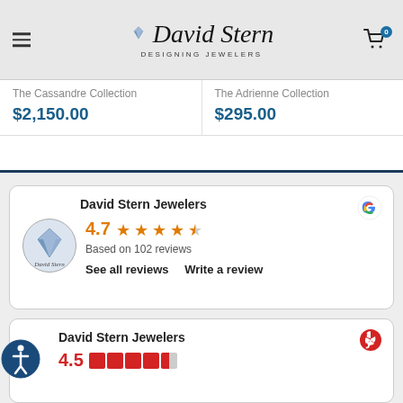David Stern Designing Jewelers
The Cassandre Collection
$2,150.00
The Adrienne Collection
$295.00
[Figure (infographic): Google review widget: David Stern Jewelers, 4.7 stars, Based on 102 reviews, See all reviews / Write a review]
[Figure (infographic): Yelp review widget: David Stern Jewelers, 4.5 stars (partially visible)]